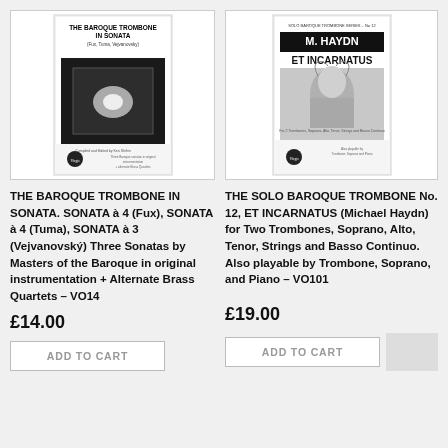[Figure (illustration): Book cover: THE BAROQUE TROMBONE IN SONATA (Fux, Tuma, Vejvanovsky) with Virgo Music Publishers logo]
[Figure (illustration): Book cover: M. HAYDN ET INCARNATUS, Solo Baroque Trombone Series No.12, with portrait of M. Haydn and Virgo Music Publishers logo]
THE BAROQUE TROMBONE IN SONATA. SONATA à 4 (Fux), SONATA à 4 (Tuma), SONATA à 3 (Vejvanovský) Three Sonatas by Masters of the Baroque in original instrumentation + Alternate Brass Quartets – VO14
THE SOLO BAROQUE TROMBONE No. 12, ET INCARNATUS (Michael Haydn) for Two Trombones, Soprano, Alto, Tenor, Strings and Basso Continuo. Also playable by Trombone, Soprano, and Piano – VO101
£14.00
£19.00
ADD TO CART
ADD TO CART